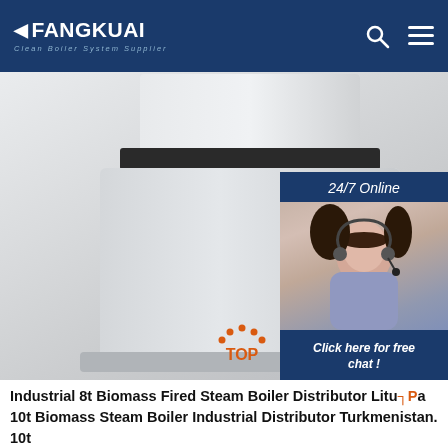FANGKUAI Clean Boiler System Supplier
[Figure (photo): Industrial boiler unit in white/grey finish with dark accent band, shown from a low-angle perspective. Overlaid with a customer service chat widget showing a woman with headset, '24/7 Online' label, 'Click here for free chat!' prompt, and an orange QUOTATION button.]
Industrial 8t Biomass Fired Steam Boiler Distributor Lithuania 10t Biomass Steam Boiler Industrial Distributor Turkmenistan. 10t Biomass Steam Boiler Industrial Distributor Turkmenistan 4t 6t 10t heavy oil fired steam boiler Dealer Uzbekist Price 4T Natural Gas